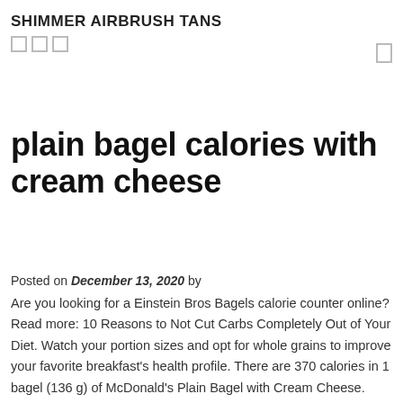SHIMMER AIRBRUSH TANS
plain bagel calories with cream cheese
Posted on December 13, 2020 by
Are you looking for a Einstein Bros Bagels calorie counter online? Read more: 10 Reasons to Not Cut Carbs Completely Out of Your Diet. Watch your portion sizes and opt for whole grains to improve your favorite breakfast's health profile. There are 370 calories in 1 bagel (136 g) of McDonald's Plain Bagel with Cream Cheese. Cream